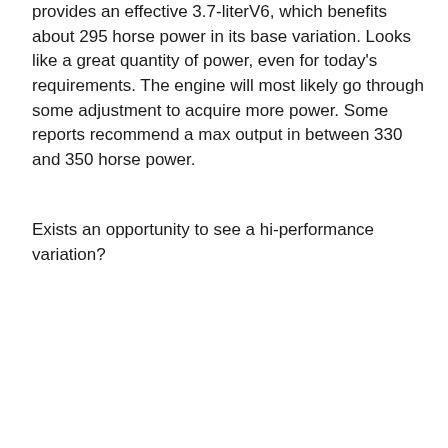provides an effective 3.7-literV6, which benefits about 295 horse power in its base variation. Looks like a great quantity of power, even for today's requirements. The engine will most likely go through some adjustment to acquire more power. Some reports recommend a max output in between 330 and 350 horse power.
Exists an opportunity to see a hi-performance variation?